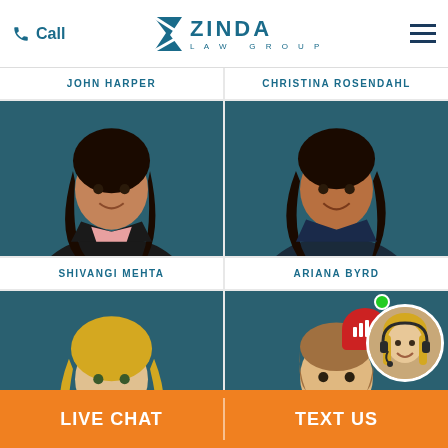Call | Zinda Law Group | (menu)
JOHN HARPER
[Figure (photo): Professional headshot of Shivangi Mehta, woman with dark hair wearing black blazer, blue background]
SHIVANGI MEHTA
CHRISTINA ROSENDAHL
[Figure (photo): Professional headshot of Ariana Byrd, woman with dark hair wearing dark top, blue background]
ARIANA BYRD
[Figure (photo): Professional headshot of blonde woman in professional attire, blue background]
[Figure (photo): Professional headshot of man in dark suit and tie, blue background]
[Figure (photo): Live chat widget with avatar of blonde woman with headset and red chat bubble icon with bar chart symbol]
LIVE CHAT | TEXT US